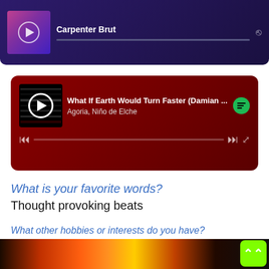[Figure (screenshot): Dark purple music player widget showing a song by Carpenter Brut with play button, progress bar, and share icon]
[Figure (screenshot): Red Spotify music player widget showing 'What If Earth Would Turn Faster (Damian ...' by Agoria, Niño de Elche with playback controls and Spotify logo]
What is your favorite words?
Thought provoking beats
What other hobbies or interests do you have?
I love going to music festivals, traveling, eating, being active and sometimes doing nothing at all hahahaha
[Figure (photo): Abstract colorful swirling fluid art image at the bottom of the page]